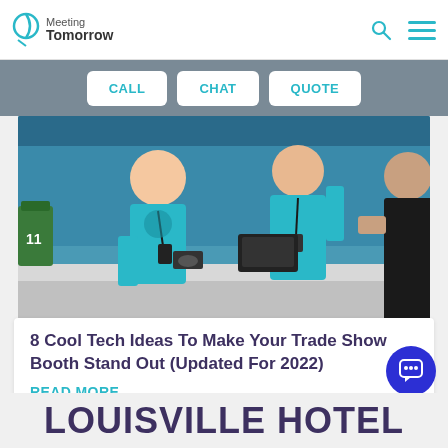Meeting Tomorrow
CALL
CHAT
QUOTE
[Figure (photo): Two people in blue t-shirts and lanyards standing at a trade show booth counter, with a third person in a black top visible at right.]
8 Cool Tech Ideas To Make Your Trade Show Booth Stand Out (Updated For 2022)
READ MORE
LOUISVILLE HOTEL